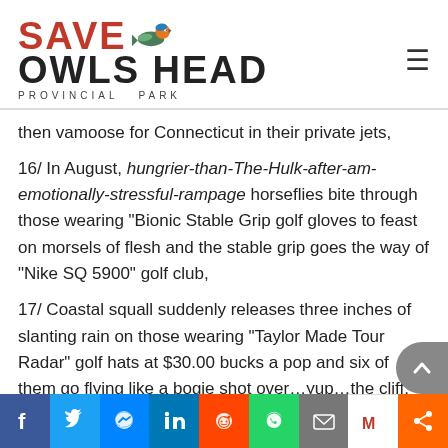SAVE OWLS HEAD PROVINCIAL PARK
then vamoose for Connecticut in their private jets,
16/ In August, hungrier-than-The-Hulk-after-am-emotionally-stressful-rampage horseflies bite through those wearing "Bionic Stable Grip golf gloves to feast on morsels of flesh and the stable grip goes the way of "Nike SQ 5900" golf club,
17/ Coastal squall suddenly releases three inches of slanting rain on those wearing "Taylor Made Tour Radar" golf hats at $30.00 bucks a pop and six of them go flying like a bogie shot over...yup...the cliff,
18/ One golfer wearing "Ray-Ban Clubmaster"
Facebook Twitter Messenger LinkedIn Reddit WhatsApp Email Gmail Share